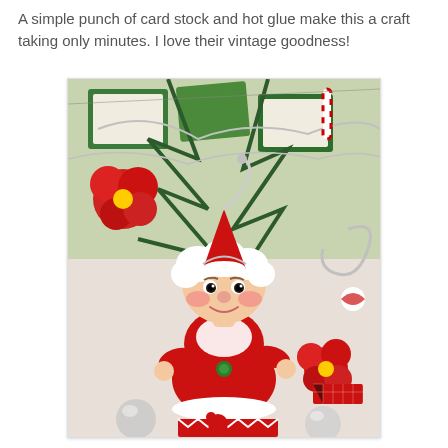A simple punch of card stock and hot glue make this a craft taking only minutes. I love their vintage goodness!
[Figure (photo): A festive Christmas scene featuring a cute elf/Mrs. Claus ornament doll wearing a red and white outfit with white fur trim and a jingle bell hat, surrounded by vintage-style Christmas decorations including candy canes, red poinsettias, silver tinsel, green pine branches, red and white chevron gift wrap, silver ball ornaments, and colorful Christmas card pennants hanging in the background.]